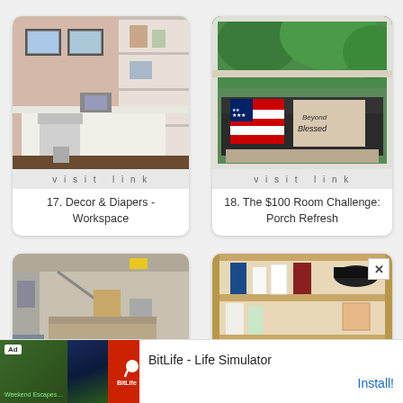[Figure (photo): Card 17: workspace/craft room photo with white desk, shelving, two framed pictures on wall]
visit link
17. Decor & Diapers - Workspace
[Figure (photo): Card 18: porch with wicker couch, American flag pillow, 'Beyond Blessed' pillow, trees outside window]
visit link
18. The $100 Room Challenge: Porch Refresh
[Figure (photo): Card 19 (partial): garage interior with storage, tools on walls, workbench]
[Figure (photo): Card 20 (partial): wood shelving unit with household products, bottles, shoes]
[Figure (screenshot): Ad banner: BitLife - Life Simulator app advertisement with green background, BitLife logo, Install button]